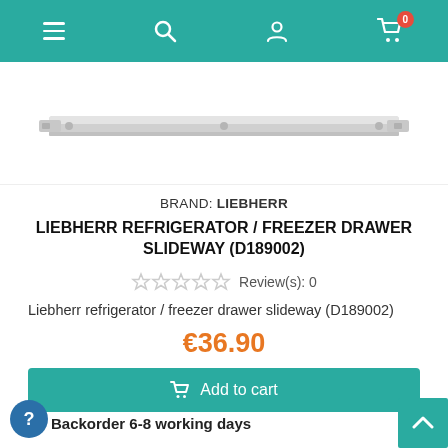Navigation bar with menu, search, account, and cart (0 items) icons
[Figure (photo): Liebherr refrigerator/freezer drawer slideway part (D189002) - a long metal rail/bar component shown against white background]
BRAND: LIEBHERR
LIEBHERR REFRIGERATOR / FREEZER DRAWER SLIDEWAY (D189002)
Review(s): 0
Liebherr refrigerator / freezer drawer slideway (D189002)
€36.90
Add to cart
Backorder 6-8 working days